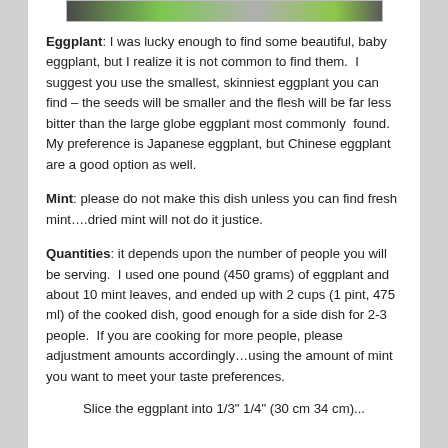[Figure (photo): Partial image of eggplant and green leaves at the top of the page]
Eggplant: I was lucky enough to find some beautiful, baby eggplant, but I realize it is not common to find them. I suggest you use the smallest, skinniest eggplant you can find – the seeds will be smaller and the flesh will be far less bitter than the large globe eggplant most commonly found. My preference is Japanese eggplant, but Chinese eggplant are a good option as well.
Mint: please do not make this dish unless you can find fresh mint….dried mint will not do it justice.
Quantities: it depends upon the number of people you will be serving. I used one pound (450 grams) of eggplant and about 10 mint leaves, and ended up with 2 cups (1 pint, 475 ml) of the cooked dish, good enough for a side dish for 2-3 people. If you are cooking for more people, please adjustment amounts accordingly…using the amount of mint you want to meet your taste preferences.
Slice the eggplant into 1/3" 1/4" (30 cm 34 cm)...